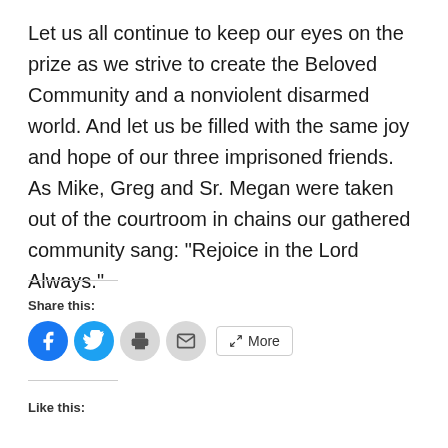Let us all continue to keep our eyes on the prize as we strive to create the Beloved Community and a nonviolent disarmed world. And let us be filled with the same joy and hope of our three imprisoned friends. As Mike, Greg and Sr. Megan were taken out of the courtroom in chains our gathered community sang: “Rejoice in the Lord Always.”
Share this:
[Figure (infographic): Social share buttons: Facebook (blue circle), Twitter (blue circle), Print (grey circle), Email (grey circle), More button]
Like this: